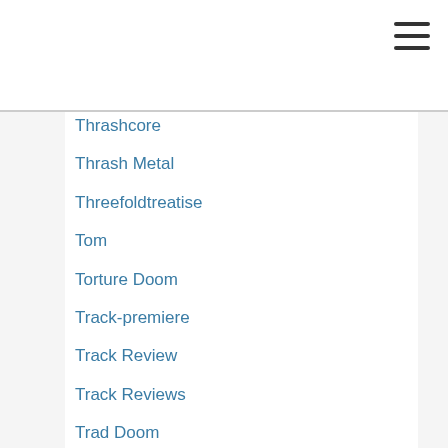Thrashcore
Thrash Metal
Threefoldtreatise
Tom
Torture Doom
Track-premiere
Track Review
Track Reviews
Trad Doom
Traditional Doom
Traditional Metal
Trad Metal
Tribute Album
True Doom
Trve Doom
Underground
Usbm